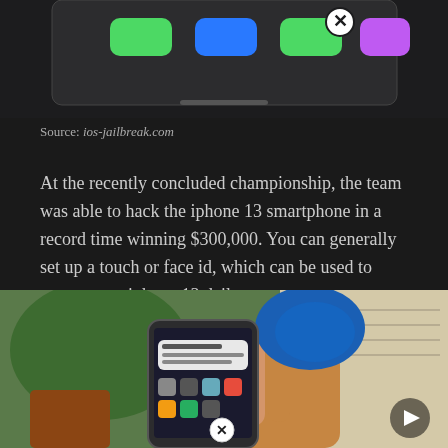[Figure (photo): Top portion of an iPhone screen showing app icons in jiggle mode with an X close button overlay, partially cropped]
Source: ios-jailbreak.com
At the recently concluded championship, the team was able to hack the iphone 13 smartphone in a record time winning $300,000. You can generally set up a touch or face id, which can be used to access your iphone 13 daily.
[Figure (photo): A hand holding an NFC tag near an iPhone showing a lock screen notification, with trees and a document visible in the background, and a close/delete overlay button visible]